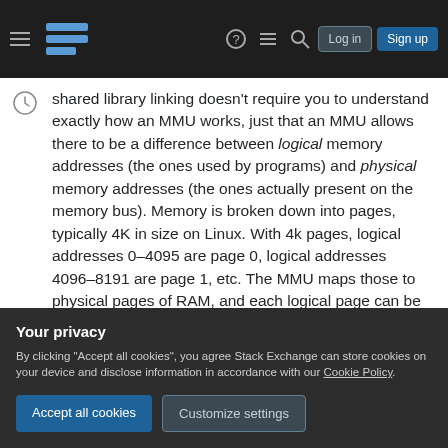Stack Exchange navigation bar with hamburger menu, logo, help, chat, search, Log in, Sign up buttons
shared library linking doesn't require you to understand exactly how an MMU works, just that an MMU allows there to be a difference between logical memory addresses (the ones used by programs) and physical memory addresses (the ones actually present on the memory bus). Memory is broken down into pages, typically 4K in size on Linux. With 4k pages, logical addresses 0–4095 are page 0, logical addresses 4096–8191 are page 1, etc. The MMU maps those to physical pages of RAM, and each logical page can be typically mapped to 0 or 1
Your privacy
By clicking "Accept all cookies", you agree Stack Exchange can store cookies on your device and disclose information in accordance with our Cookie Policy.
Accept all cookies   Customize settings